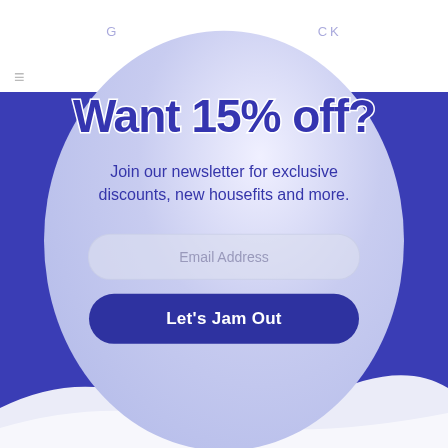G...CK
Want 15% off?
Join our newsletter for exclusive discounts, new housefits and more.
Email Address
Let's Jam Out